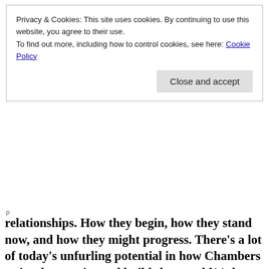Privacy & Cookies: This site uses cookies. By continuing to use this website, you agree to their use.
To find out more, including how to control cookies, see here: Cookie Policy
Close and accept
relationships. How they begin, how they stand now, and how they might progress. There’s a lot of today’s unfurling potential in how Chambers writes her stories and builds her world(s), but notably without a lot of our conflict. Do you think this is a world we can build, or does it feel too good to be true?
Yes, and … yes, I suppose. Depending on your perspective. But as I noted above, it’s understandable